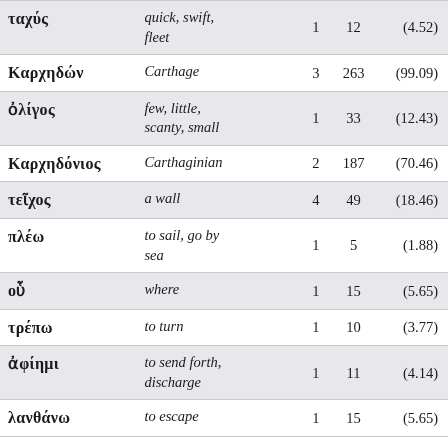|  |  |  |  |  |
| --- | --- | --- | --- | --- |
| ταχύς | quick, swift, fleet | 1 | 12 | (4.52) |
| Καρχηδών | Carthage | 3 | 263 | (99.09) |
| ὀλίγος | few, little, scanty, small | 1 | 33 | (12.43) |
| Καρχηδόνιος | Carthaginian | 2 | 187 | (70.46) |
| τεῖχος | a wall | 4 | 49 | (18.46) |
| πλέω | to sail, go by sea | 1 | 5 | (1.88) |
| οὗ | where | 1 | 15 | (5.65) |
| τρέπω | to turn | 1 | 10 | (3.77) |
| ἀφίημι | to send forth, discharge | 1 | 11 | (4.14) |
| λανθάνω | to escape | 1 | 15 | (5.65) |